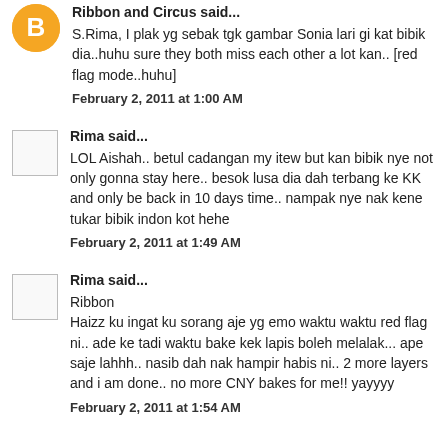Ribbon and Circus said...
S.Rima, I plak yg sebak tgk gambar Sonia lari gi kat bibik dia..huhu sure they both miss each other a lot kan.. [red flag mode..huhu]
February 2, 2011 at 1:00 AM
Rima said...
LOL Aishah.. betul cadangan my itew but kan bibik nye not only gonna stay here.. besok lusa dia dah terbang ke KK and only be back in 10 days time.. nampak nye nak kene tukar bibik indon kot hehe
February 2, 2011 at 1:49 AM
Rima said...
Ribbon
Haizz ku ingat ku sorang aje yg emo waktu waktu red flag ni.. ade ke tadi waktu bake kek lapis boleh melalak... ape saje lahhh.. nasib dah nak hampir habis ni.. 2 more layers and i am done.. no more CNY bakes for me!! yayyyy
February 2, 2011 at 1:54 AM